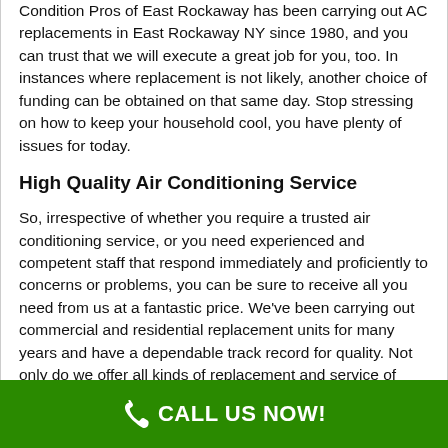Condition Pros of East Rockaway has been carrying out AC replacements in East Rockaway NY since 1980, and you can trust that we will execute a great job for you, too. In instances where replacement is not likely, another choice of funding can be obtained on that same day. Stop stressing on how to keep your household cool, you have plenty of issues for today.
High Quality Air Conditioning Service
So, irrespective of whether you require a trusted air conditioning service, or you need experienced and competent staff that respond immediately and proficiently to concerns or problems, you can be sure to receive all you need from us at a fantastic price. We've been carrying out commercial and residential replacement units for many years and have a dependable track record for quality. Not only do we offer all kinds of replacement and service of many numerous units and systems (which include
CALL US NOW!